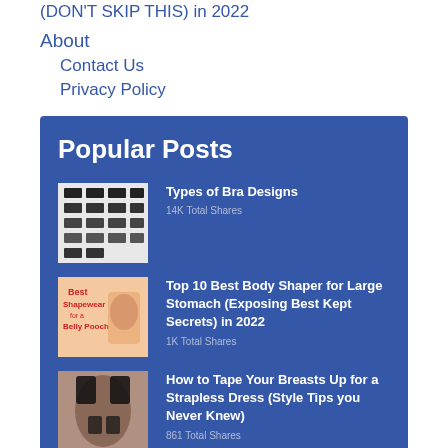(DON'T SKIP THIS) in 2022
About
Contact Us
Privacy Policy
Popular Posts
Types of Bra Designs
14K Total Shares
Top 10 Best Body Shaper for Large Stomach (Exposing Best Kept Secrets) in 2022
1K Total Shares
How to Tape Your Breasts Up for a Strapless Dress (Style Tips you Never Knew)
861 Total Shares